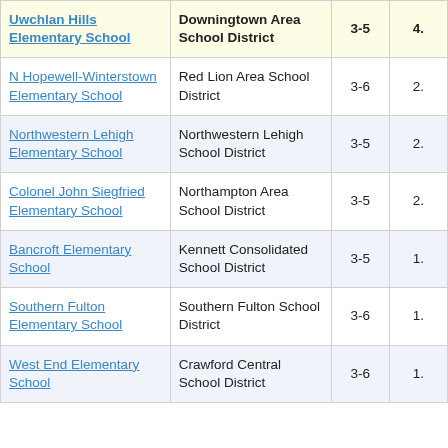| School | District | Grades |  |
| --- | --- | --- | --- |
| Uwchlan Hills Elementary School | Downingtown Area School District | 3-5 | 4. |
| N Hopewell-Winterstown Elementary School | Red Lion Area School District | 3-6 | 2. |
| Northwestern Lehigh Elementary School | Northwestern Lehigh School District | 3-5 | 2. |
| Colonel John Siegfried Elementary School | Northampton Area School District | 3-5 | 2. |
| Bancroft Elementary School | Kennett Consolidated School District | 3-5 | 1. |
| Southern Fulton Elementary School | Southern Fulton School District | 3-6 | 1. |
| West End Elementary School | Crawford Central School District | 3-6 | 1. |